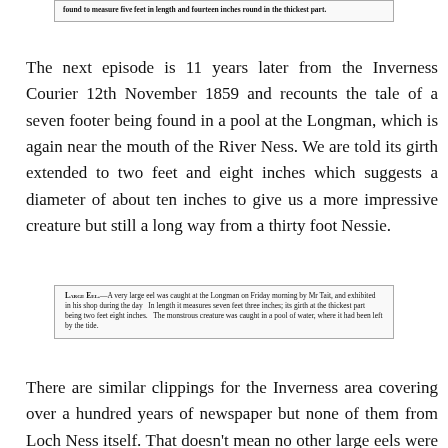[Figure (other): Newspaper clipping (top, partially visible) mentioning measurement of five feet in length and fourteen inches round in the thickest part.]
The next episode is 11 years later from the Inverness Courier 12th November 1859 and recounts the tale of a seven footer being found in a pool at the Longman, which is again near the mouth of the River Ness. We are told its girth extended to two feet and eight inches which suggests a diameter of about ten inches to give us a more impressive creature but still a long way from a thirty foot Nessie.
[Figure (other): Newspaper clipping: 'Large Eel.—A very large eel was caught at the Longman on Friday morning by Mr Tait, and exhibited in his shop during the day. In length it measures seven feet three inches; its girth at the thickest part being two feet eight inches. The monstrous creature was caught in a pool of water, where it had been left by the tide.']
There are similar clippings for the Inverness area covering over a hundred years of newspaper but none of them from Loch Ness itself. That doesn't mean no other large eels were caught in that time, perhaps November and December were